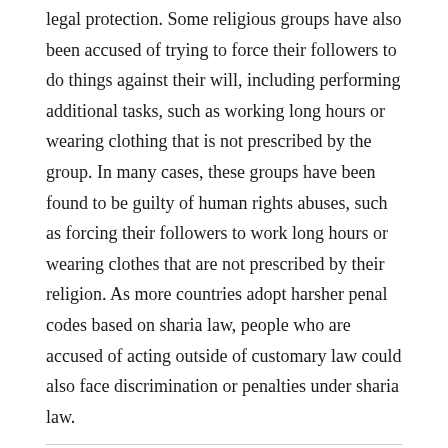legal protection. Some religious groups have also been accused of trying to force their followers to do things against their will, including performing additional tasks, such as working long hours or wearing clothing that is not prescribed by the group. In many cases, these groups have been found to be guilty of human rights abuses, such as forcing their followers to work long hours or wearing clothes that are not prescribed by their religion. As more countries adopt harsher penal codes based on sharia law, people who are accused of acting outside of customary law could also face discrimination or penalties under sharia law.
Travel
Best Sight Seeing Places In Singapore